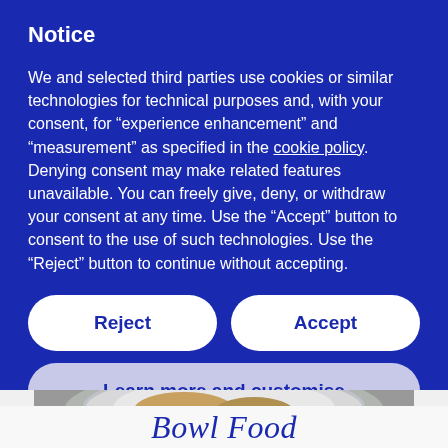Notice
We and selected third parties use cookies or similar technologies for technical purposes and, with your consent, for “experience enhancement” and “measurement” as specified in the cookie policy. Denying consent may make related features unavailable. You can freely give, deny, or withdraw your consent at any time. Use the “Accept” button to consent to the use of such technologies. Use the “Reject” button to continue without accepting.
Reject
Accept
Learn more and customise
[Figure (photo): Partial view of a bowl of food with a decorative plate, visible from about mid-section downward]
Bowl Food